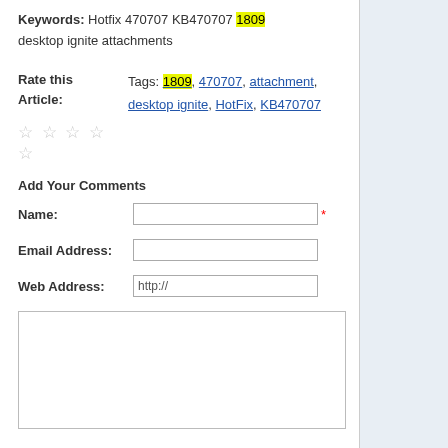Keywords: Hotfix 470707 KB470707 1809 desktop ignite attachments
Rate this Article: Tags: 1809, 470707, attachment, desktop ignite, HotFix, KB470707
★ ★ ★ ★ ★
Add Your Comments
Name: [input field] *
Email Address: [input field]
Web Address: http://
[textarea]